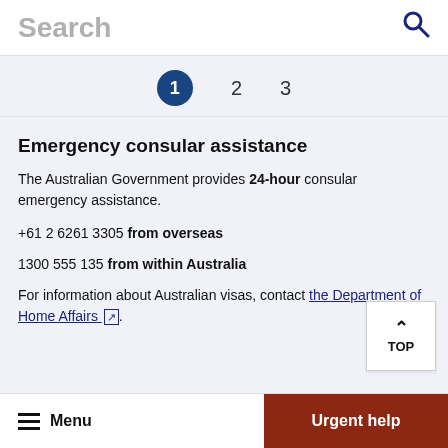Search
[Figure (infographic): Step indicator showing steps 1, 2, 3 with step 1 highlighted in a dark blue circle]
Emergency consular assistance
The Australian Government provides 24-hour consular emergency assistance.
+61 2 6261 3305 from overseas
1300 555 135 from within Australia
For information about Australian visas, contact the Department of Home Affairs.
Menu  Urgent help